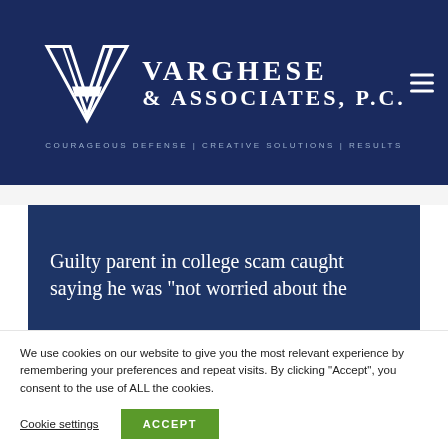[Figure (logo): Varghese & Associates P.C. law firm logo with stylized VA monogram and firm name]
COURAGEOUS DEFENSE | CREATIVE SOLUTIONS | RESULTS
Guilty parent in college scam caught saying he was "not worried about the"
We use cookies on our website to give you the most relevant experience by remembering your preferences and repeat visits. By clicking “Accept”, you consent to the use of ALL the cookies.
Cookie settings
ACCEPT